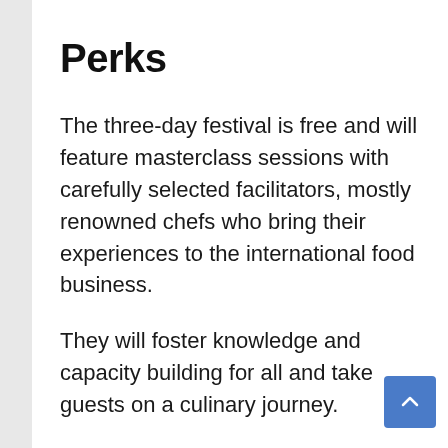Perks
The three-day festival is free and will feature masterclass sessions with carefully selected facilitators, mostly renowned chefs who bring their experiences to the international food business.
They will foster knowledge and capacity building for all and take guests on a culinary journey.
In addition to the exhibition and sales, the GTCO Food & Drink event also offers other culinary experiences such as food and wine tasting…